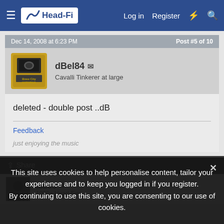Head-Fi | Log in | Register
Dec 14, 2008 at 6:23 PM
Post #5 of 10
dBel84
Cavalli Tinkerer at large
deleted - double post ..dB
Feedback
just enjoying the music
Share
ludoo
1000+ Head-Fier
This site uses cookies to help personalise content, tailor your experience and to keep you logged in if you register. By continuing to use this site, you are consenting to our use of cookies.